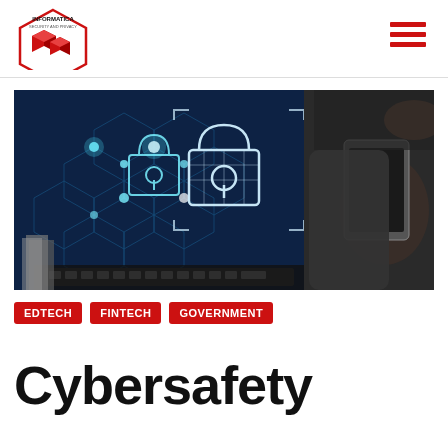[Figure (logo): Informatica Security and Privacy hexagon logo with red geometric shapes]
[Figure (photo): Cybersecurity themed photo showing a laptop with holographic padlock icons on screen and a person using a smartphone in the background]
EDTECH
FINTECH
GOVERNMENT
Cybersafety